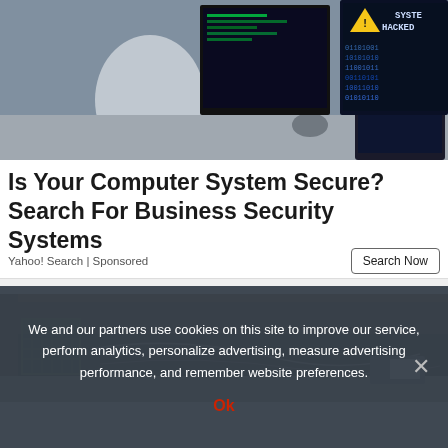[Figure (photo): Person sitting at a desk with multiple monitors showing hacking/cybersecurity themes with 'SYSTEM HACKED' text on screen]
Is Your Computer System Secure? Search For Business Security Systems
Yahoo! Search | Sponsored
Search Now
[Figure (photo): Dark crawlspace or underfloor area with wooden beams, green mesh, wires, and insulation material]
We and our partners use cookies on this site to improve our service, perform analytics, personalize advertising, measure advertising performance, and remember website preferences.
Ok